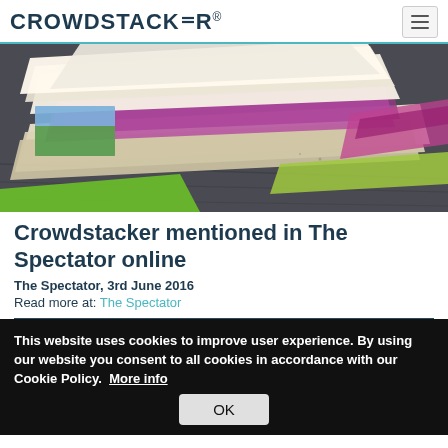CROWDSTACKER®
[Figure (photo): Stack of colorful magazines and newspapers on a dark wooden surface, viewed from above at an angle, showing various publications with purple, green, and white covers.]
Crowdstacker mentioned in The Spectator online
The Spectator, 3rd June 2016
Read more at: The Spectator
This website uses cookies to improve user experience. By using our website you consent to all cookies in accordance with our Cookie Policy.  More info
OK